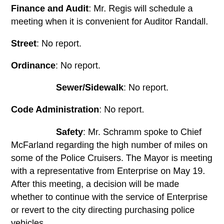Finance and Audit: Mr. Regis will schedule a meeting when it is convenient for Auditor Randall.
Street: No report.
Ordinance: No report.
Sewer/Sidewalk: No report.
Code Administration: No report.
Safety: Mr. Schramm spoke to Chief McFarland regarding the high number of miles on some of the Police Cruisers. The Mayor is meeting with a representative from Enterprise on May 19. After this meeting, a decision will be made whether to continue with the service of Enterprise or revert to the city directing purchasing police vehicles.
Service: No report.
Cemetery: No report.